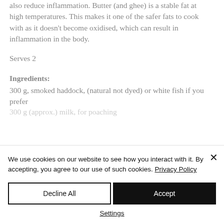also reduce inflammation. Butter (and ghee) is a stable fat at high temperatures. This makes it one of the safer fats to cook with as it doesn't become oxidised, which can result in inflammation in the body.
Serves 2
Ingredients:
300 g, smoked haddock, (natural not dyed) or white fish if you prefer
300 g (approx.) milk, for poaching
We use cookies on our website to see how you interact with it. By accepting, you agree to our use of such cookies. Privacy Policy
Decline All
Accept
Settings